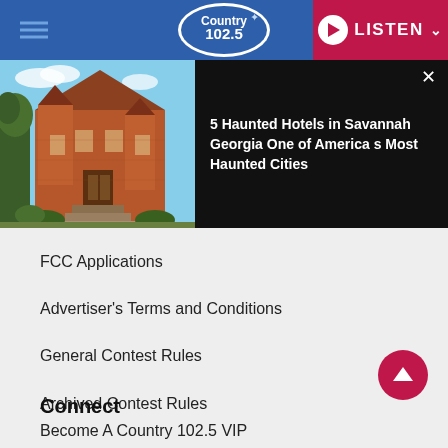Country 102.5 — LISTEN
[Figure (screenshot): Photo of a historic brick Victorian-style building (haunted hotel) with trees in front, on black background with article title overlay]
5 Haunted Hotels in Savannah Georgia One of America s Most Haunted Cities
FCC Applications
Advertiser's Terms and Conditions
General Contest Rules
Archived Contest Rules
Connect
Become A Country 102.5 VIP